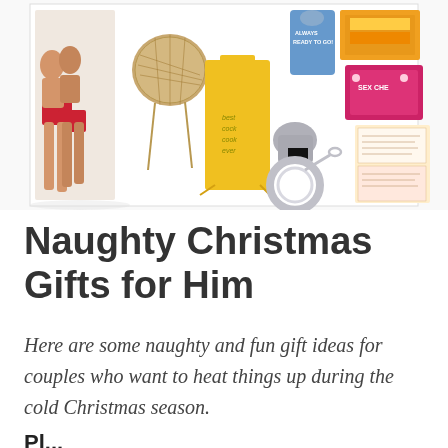[Figure (photo): A collage of naughty Christmas gift items including couples in underwear, a yellow apron, novelty items, handcuffs, and adult-themed books/games against a white background.]
Naughty Christmas Gifts for Him
Here are some naughty and fun gift ideas for couples who want to heat things up during the cold Christmas season.
Pl...